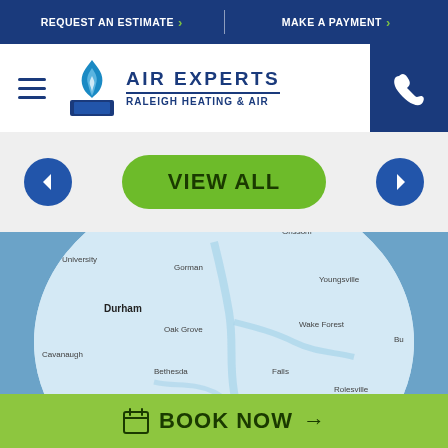REQUEST AN ESTIMATE > | MAKE A PAYMENT >
[Figure (logo): Air Experts Raleigh Heating & Air logo with flame icon]
VIEW ALL
[Figure (map): Map of Raleigh NC area showing Durham, Wake Forest, Chapel Hill, Youngsville, Rolesville, Millbrook, Morrisville, Zebulon and other locations]
BOOK NOW →